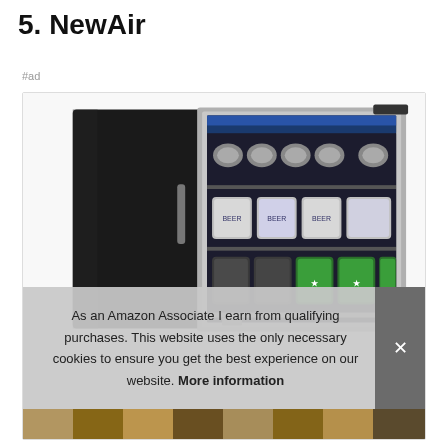5. NewAir
#ad
[Figure (photo): A NewAir beverage cooler/mini fridge with glass door, stainless steel frame, filled with cans of various beverages including beer cans on top shelf, silver cans on middle shelf, and green cans on lower shelf.]
As an Amazon Associate I earn from qualifying purchases. This website uses the only necessary cookies to ensure you get the best experience on our website. More information